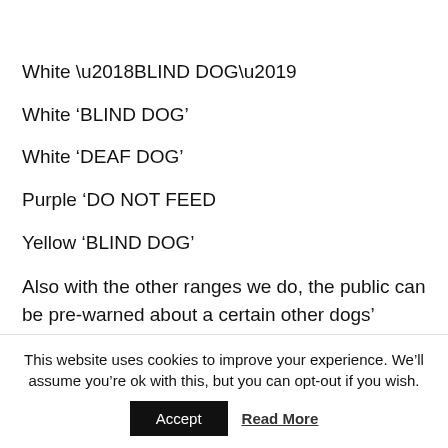White ‘BLIND DOG’
White ‘DEAF DOG’
Purple ‘DO NOT FEED
Yellow ‘BLIND DOG’
Also with the other ranges we do, the public can be pre-warned about a certain other dogs’ needs in advance. By being pre-warned about a certain dogs temperament so many situations can be avoided cutting down on the 8 million dog bites reported on
This website uses cookies to improve your experience. We’ll assume you’re ok with this, but you can opt-out if you wish.
Accept   Read More